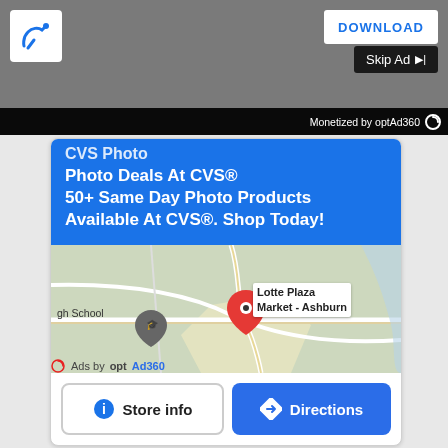[Figure (screenshot): Screenshot of a webpage showing a CVS Photo advertisement with a Google Maps location card. Top gray bar with a tool icon logo and a 'DOWNLOAD' button and 'Skip Ad' button. A 'Monetized by optAd360' bar. The ad card shows 'CVS Photo' branding, headline text, a map showing Lotte Plaza Market - Ashburn, and Store info / Directions buttons. Footer shows 'Ads by optAd360'.]